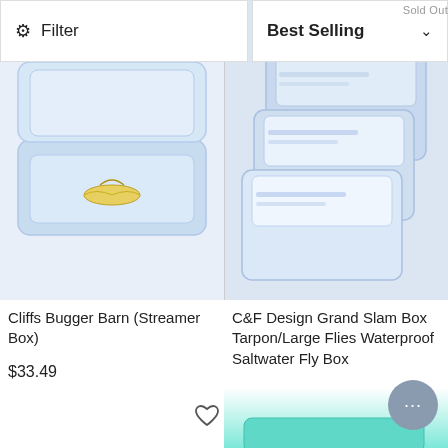Sold Out
Filter
Best Selling
[Figure (photo): Blue fly fishing box with a yellow streamer fly inside, open lid visible]
[Figure (photo): Multiple C&F Design waterproof fly boxes stacked, light blue/white color]
Cliffs Bugger Barn (Streamer Box)
$33.49
C&F Design Grand Slam Box Tarpon/Large Flies Waterproof Saltwater Fly Box
$58.95
[Figure (photo): Partial view of a teal/turquoise fly box at the bottom right of the page]